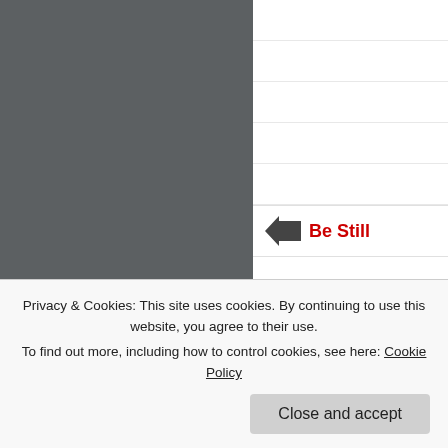[Figure (photo): Dark gray image area covering top-left portion of the page]
Be Still
Blogs I Follow
Blogroll
Pam Grout
Edge of Humanity Magazine
The Reverie Child
Discuss
Get Inspired
Get Polling
Privacy & Cookies: This site uses cookies. By continuing to use this website, you agree to their use.
To find out more, including how to control cookies, see here: Cookie Policy
Close and accept